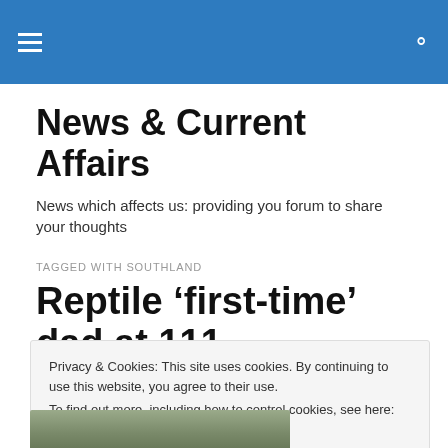News & Current Affairs — site navigation header
News & Current Affairs
News which affects us: providing you forum to share your thoughts
TAGGED WITH SOUTHLAND
Reptile ‘first-time’ dad at 111
Privacy & Cookies: This site uses cookies. By continuing to use this website, you agree to their use. To find out more, including how to control cookies, see here: Cookie Policy
[Figure (photo): Partial view of a reptile photo at the bottom of the page]